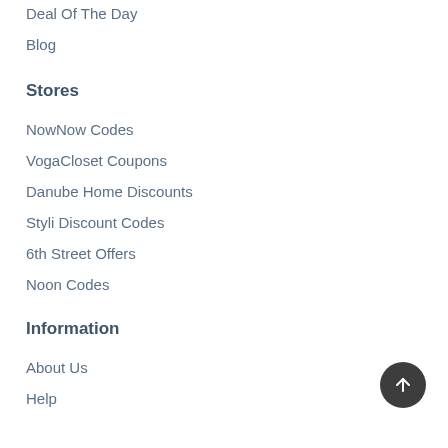Deal Of The Day
Blog
Stores
NowNow Codes
VogaCloset Coupons
Danube Home Discounts
Styli Discount Codes
6th Street Offers
Noon Codes
Information
About Us
Help